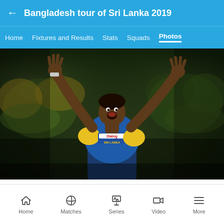Bangladesh tour of Sri Lanka 2019
Home | Fixtures and Results | Stats | Squads | Photos
[Figure (photo): Sri Lanka cricket player in blue jersey with Dialog and Sri Lanka branding, arms raised wide in celebration, shouting, wearing wristband, against blurred stadium crowd background]
Home | Matches | Series | Video | More